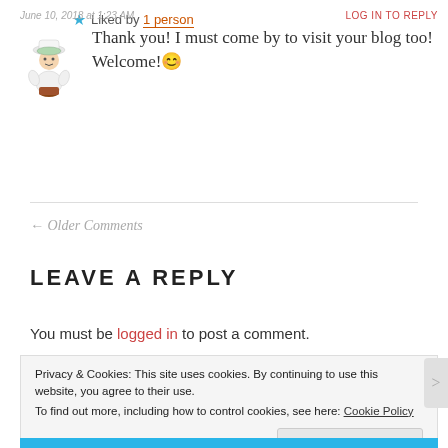June 10, 2018 at 1:23 AM — LOG IN TO REPLY
Thank you! I must come by to visit your blog too! Welcome! 😊
★ Liked by 1 person
← Older Comments
LEAVE A REPLY
You must be logged in to post a comment.
Privacy & Cookies: This site uses cookies. By continuing to use this website, you agree to their use.
To find out more, including how to control cookies, see here: Cookie Policy
Close and accept